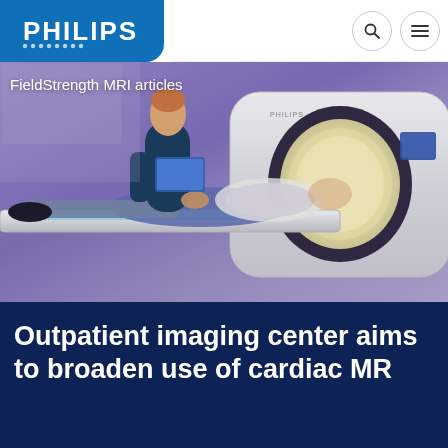PHILIPS
[Figure (photo): Healthcare professional operating a Philips MRI scanner with a patient lying on the table entering the bore of the machine. The room has a purple/blue ambient lighting.]
FieldStrength MRI articles
Outpatient imaging center aims to broaden use of cardiac MR